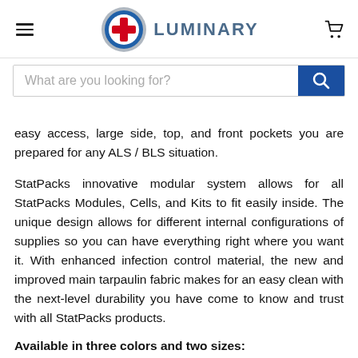[Figure (logo): Luminary medical logo with red cross in blue circle, and text LUMINARY]
[Figure (screenshot): Search bar with placeholder 'What are you looking for?' and blue search button]
easy access, large side, top, and front pockets you are prepared for any ALS / BLS situation.
StatPacks innovative modular system allows for all StatPacks Modules, Cells, and Kits to fit easily inside. The unique design allows for different internal configurations of supplies so you can have everything right where you want it. With enhanced infection control material, the new and improved main tarpaulin fabric makes for an easy clean with the next-level durability you have come to know and trust with all StatPacks products.
Available in three colors and two sizes:
Colors: Black, Canal Blue (Orange and Red/Yellow...